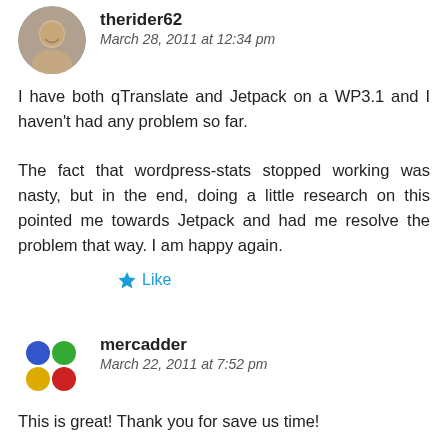therider62
March 28, 2011 at 12:34 pm
I have both qTranslate and Jetpack on a WP3.1 and I haven't had any problem so far.

The fact that wordpress-stats stopped working was nasty, but in the end, doing a little research on this pointed me towards Jetpack and had me resolve the problem that way. I am happy again.
Like
mercadder
March 22, 2011 at 7:52 pm
This is great! Thank you for save us time!